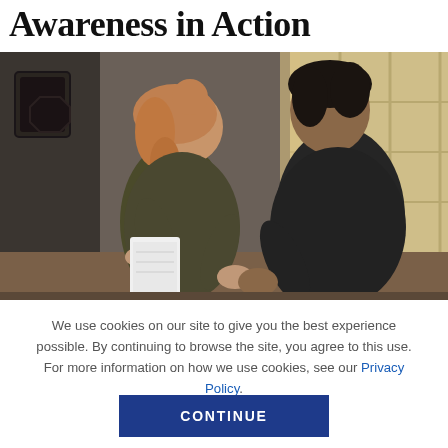Awareness in Action
[Figure (photo): Two people in conversation indoors — a woman with curly hair holding a notepad/clipboard, and a man in a dark t-shirt facing her, with a window and room interior in the background.]
We use cookies on our site to give you the best experience possible. By continuing to browse the site, you agree to this use. For more information on how we use cookies, see our Privacy Policy.
CONTINUE